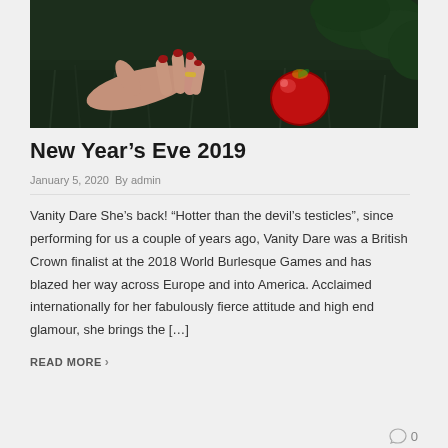[Figure (photo): A hand with red nails reaching toward a red apple on dark green grass, with foliage in the background. Dark, moody photograph.]
New Year’s Eve 2019
January 5, 2020  By admin
Vanity Dare She’s back! “Hotter than the devil’s testicles”, since performing for us a couple of years ago, Vanity Dare was a British Crown finalist at the 2018 World Burlesque Games and has blazed her way across Europe and into America. Acclaimed internationally for her fabulously fierce attitude and high end glamour, she brings the […]
READ MORE ›